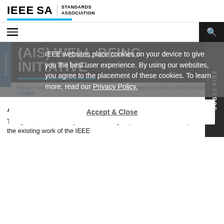IEEE SA STANDARDS ASSOCIATION
(AIS) WELL-BEING INITIATIVE
IEEE websites place cookies on your device to give you the best user experience. By using our websites, you agree to the placement of these cookies. To learn more, read our Privacy Policy.
Accept & Close
Home > Industry Connections > Global Artificial Intelligence Systems (AIS) Well-Being Initiative
About
The goal of this Industry Connections group is to continue and proliferate the existing work of the IEEE